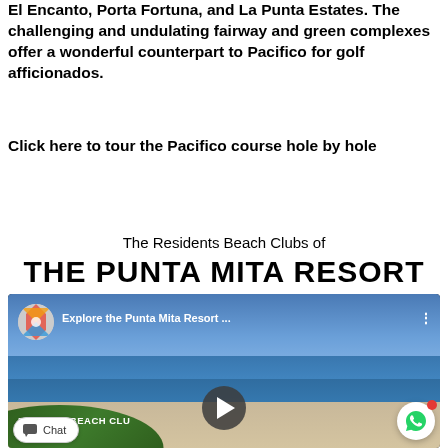El Encanto, Porta Fortuna, and La Punta Estates. The challenging and undulating fairway and green complexes offer a wonderful counterpart to Pacifico for golf afficionados.
Click here to tour the Pacifico course hole by hole
The Residents Beach Clubs of
THE PUNTA MITA RESORT
[Figure (screenshot): YouTube video thumbnail showing aerial beach/ocean view with title 'Explore the Punta Mita Resort ...' and a play button. Bottom left shows 'PACIFICO BEACH CLU' text. Chat and WhatsApp buttons visible.]